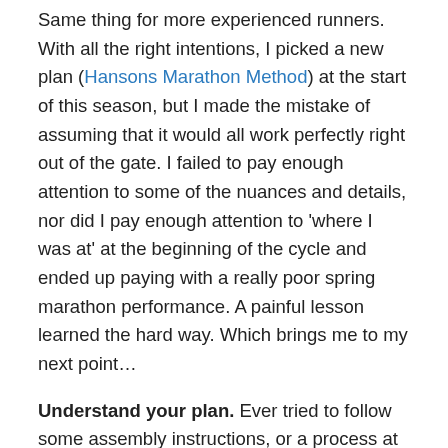Same thing for more experienced runners. With all the right intentions, I picked a new plan (Hansons Marathon Method) at the start of this season, but I made the mistake of assuming that it would all work perfectly right out of the gate. I failed to pay enough attention to some of the nuances and details, nor did I pay enough attention to 'where I was at' at the beginning of the cycle and ended up paying with a really poor spring marathon performance. A painful lesson learned the hard way. Which brings me to my next point…
Understand your plan. Ever tried to follow some assembly instructions, or a process at work, and decide on the fly to miss out steps 3 and 8 because they didn't seem to add value, only to find out later that they were kind of important? Same thing with running. It's really easy to let that 'easy 6' on a Monday slide by, if you don't appreciate